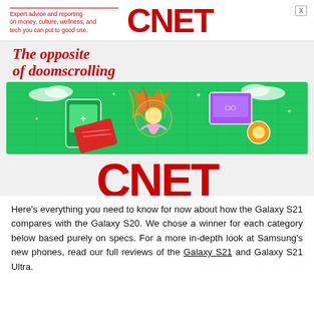Expert advice and reporting on money, culture, wellness, and tech you can put to good use. CNET
[Figure (illustration): CNET advertisement banner featuring text 'The opposite of doomscrolling', a colorful illustration of a person meditating with tech gadgets, and the large red CNET logo]
Here's everything you need to know for now about how the Galaxy S21 compares with the Galaxy S20. We chose a winner for each category below based purely on specs. For a more in-depth look at Samsung's new phones, read our full reviews of the Galaxy S21 and Galaxy S21 Ultra.